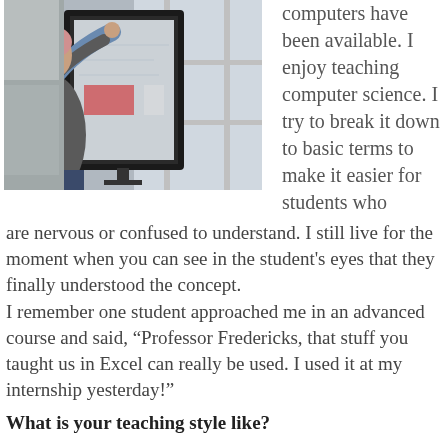[Figure (photo): A person standing and touching a large interactive display screen/smartboard in what appears to a classroom or office setting. The person is wearing a grey vest over a blue shirt.]
computers have been available. I enjoy teaching computer science. I try to break it down to basic terms to make it easier for students who are nervous or confused to understand. I still live for the moment when you can see in the student's eyes that they finally understood the concept.
I remember one student approached me in an advanced course and said, “Professor Fredericks, that stuff you taught us in Excel can really be used. I used it at my internship yesterday!”
What is your teaching style like?